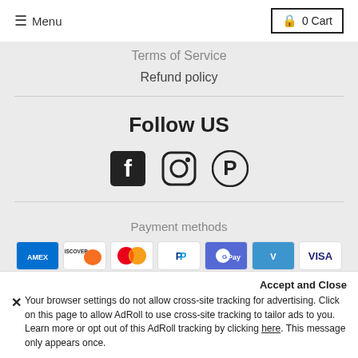Menu | 0 Cart
Terms of Service
Refund policy
Follow US
[Figure (illustration): Social media icons: Facebook, Instagram, Pinterest]
Payment methods
[Figure (illustration): Payment method icons: Amex, Discover, Mastercard, PayPal, GPay, Venmo, Visa]
© 2022, Eleanor Rose
Accept and Close
✕ Your browser settings do not allow cross-site tracking for advertising. Click on this page to allow AdRoll to use cross-site tracking to tailor ads to you. Learn more or opt out of this AdRoll tracking by clicking here. This message only appears once.